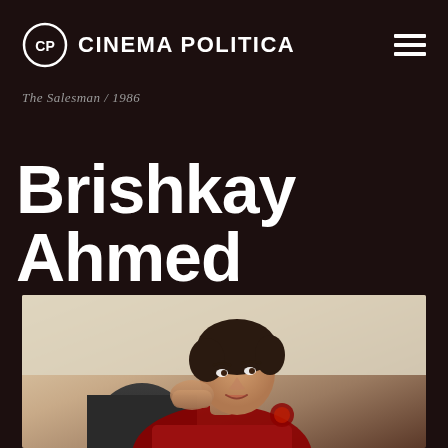CINEMA POLITICA
The Salesman / 1986
Brishkay Ahmed
[Figure (photo): Portrait photograph of a woman with dark hair, resting her head on her hand, smiling slightly, wearing a colorful garment with red and gold details, seated in an office/indoor setting]